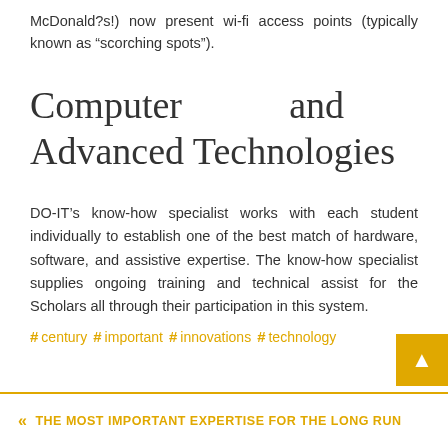McDonald?s!) now present wi-fi access points (typically known as “scorching spots”).
Computer and Advanced Technologies
DO-IT’s know-how specialist works with each student individually to establish one of the best match of hardware, software, and assistive expertise. The know-how specialist supplies ongoing training and technical assist for the Scholars all through their participation in this system.
# century  # important  # innovations  # technology
«  THE MOST IMPORTANT EXPERTISE FOR THE LONG RUN